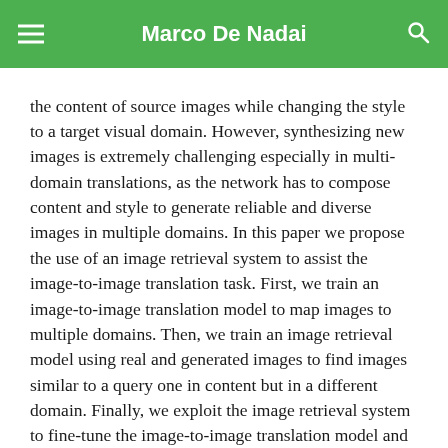Marco De Nadai
the content of source images while changing the style to a target visual domain. However, synthesizing new images is extremely challenging especially in multi-domain translations, as the network has to compose content and style to generate reliable and diverse images in multiple domains. In this paper we propose the use of an image retrieval system to assist the image-to-image translation task. First, we train an image-to-image translation model to map images to multiple domains. Then, we train an image retrieval model using real and generated images to find images similar to a query one in content but in a different domain. Finally, we exploit the image retrieval system to fine-tune the image-to-image translation model and generate higher quality images. Our experiments show the effectiveness of the proposed solution and highlight the contribution of the retrieval network, which can benefit from additional unlabeled data and help image-to-image translation models in the presence of scarce data.
Type